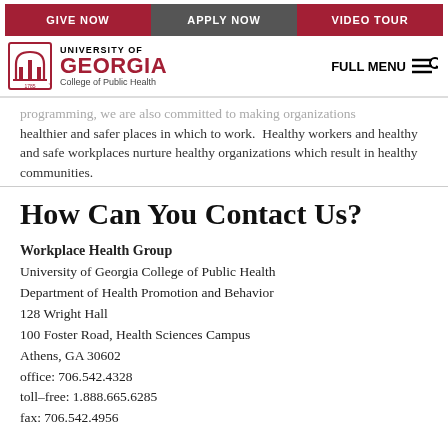GIVE NOW | APPLY NOW | VIDEO TOUR
[Figure (logo): University of Georgia College of Public Health logo with arch icon]
programming, we are also committed to making organizations healthier and safer places in which to work. Healthy workers and healthy and safe workplaces nurture healthy organizations which result in healthy communities.
How Can You Contact Us?
Workplace Health Group
University of Georgia College of Public Health
Department of Health Promotion and Behavior
128 Wright Hall
100 Foster Road, Health Sciences Campus
Athens, GA 30602
office: 706.542.4328
toll-free: 1.888.665.6285
fax: 706.542.4956